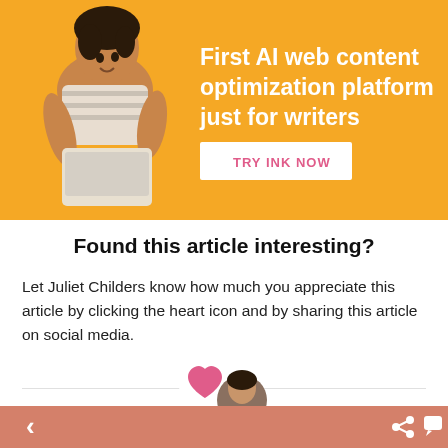[Figure (illustration): Yellow/orange banner ad with a woman using a laptop on the left and bold white text on the right reading 'First AI web content optimization platform just for writers' with a white button labeled 'TRY INK NOW']
Found this article interesting?
Let Juliet Childers know how much you appreciate this article by clicking the heart icon and by sharing this article on social media.
[Figure (illustration): Bottom navigation bar in salmon/dusty rose color with a back arrow chevron on the left and share and comment icons on the right; a white circle with a pink heart icon centered above the bar with a partial avatar photo to the right]